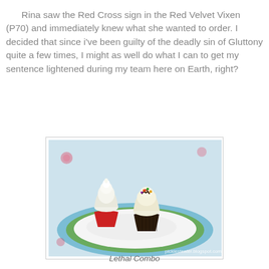Rina saw the Red Cross sign in the Red Velvet Vixen (P70) and immediately knew what she wanted to order. I decided that since i've been guilty of the deadly sin of Gluttony quite a few times, I might as well do what I can to get my sentence lightened during my team here on Earth, right?
[Figure (photo): Two cupcakes on a light blue and green plate on a floral tablecloth. One is a red velvet cupcake with white cream cheese frosting, the other is a chocolate cupcake with cream frosting and chocolate toppings. Watermark: pickiesteater.blogspot.com]
Lethal Combo